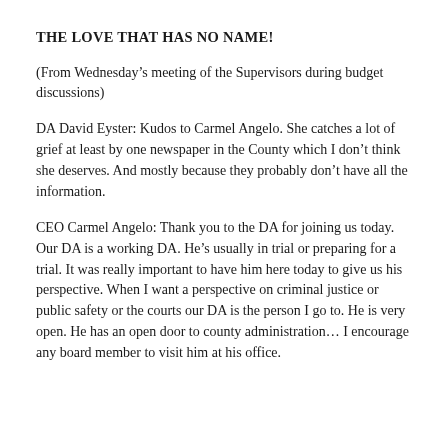THE LOVE THAT HAS NO NAME!
(From Wednesday’s meeting of the Supervisors during budget discussions)
DA David Eyster: Kudos to Carmel Angelo. She catches a lot of grief at least by one newspaper in the County which I don’t think she deserves. And mostly because they probably don’t have all the information.
CEO Carmel Angelo: Thank you to the DA for joining us today. Our DA is a working DA. He’s usually in trial or preparing for a trial. It was really important to have him here today to give us his perspective. When I want a perspective on criminal justice or public safety or the courts our DA is the person I go to. He is very open. He has an open door to county administration… I encourage any board member to visit him at his office.